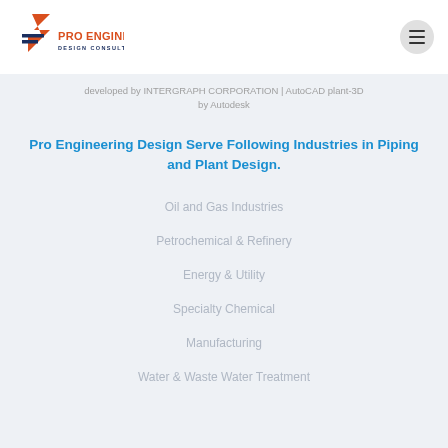[Figure (logo): Pro Engineering Design Consultant logo with red angular arrow and blue horizontal lines]
developed by INTERGRAPH CORPORATION | AutoCAD plant-3D by Autodesk
Pro Engineering Design Serve Following Industries in Piping and Plant Design.
Oil and Gas Industries
Petrochemical & Refinery
Energy & Utility
Specialty Chemical
Manufacturing
Water & Waste Water Treatment